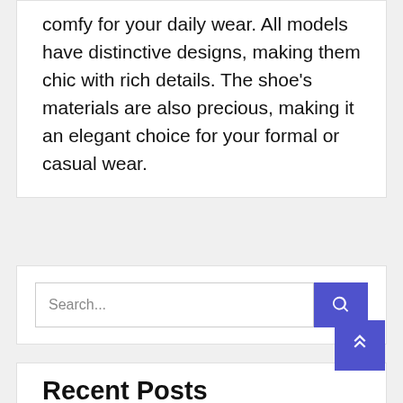comfy for your daily wear. All models have distinctive designs, making them chic with rich details. The shoe's materials are also precious, making it an elegant choice for your formal or casual wear.
[Figure (screenshot): Search bar with text input field showing placeholder text 'Search...' and a blue button with a magnifying glass icon]
Recent Posts